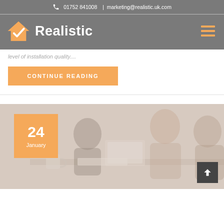📞 01752 841008  |  marketing@realistic.uk.com
[Figure (logo): Realistic company logo with orange house/checkmark icon and white bold text 'Realistic' on grey background, plus hamburger menu icon on right]
level of installation quality....
Continue Reading
[Figure (photo): Two people working together at a desk with a laptop and notebook, one writing, soft warm tones, partially faded/washed out. Date badge overlay shows '24 January' in orange. Scroll-to-top button in bottom right corner.]